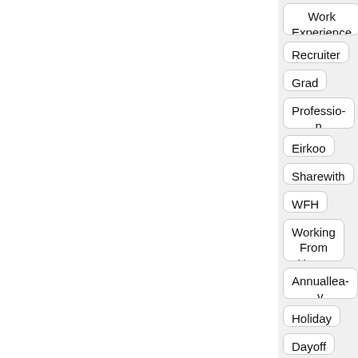Work Experience
Recruiter
Grad
Professional
Eirkoo
Sharewith
WFH
Working From Home
Annualleave
Holiday
Dayoff